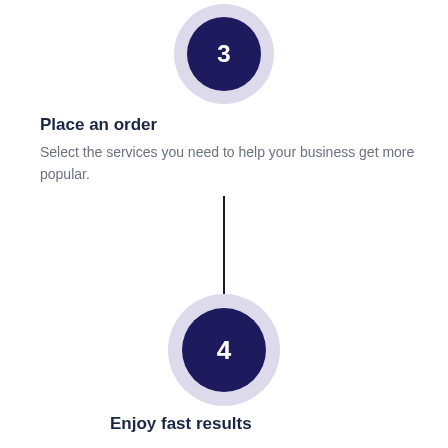[Figure (infographic): Step 3 circle badge — dark navy circle with number 3 in white, surrounded by a light lavender outer ring]
Place an order
Select the services you need to help your business get more popular.
[Figure (infographic): Vertical connector line linking step 3 to step 4]
[Figure (infographic): Step 4 circle badge — dark navy circle with number 4 in white, surrounded by a light lavender outer ring]
Enjoy fast results
You can enjoy fantastic results once your order is complete.